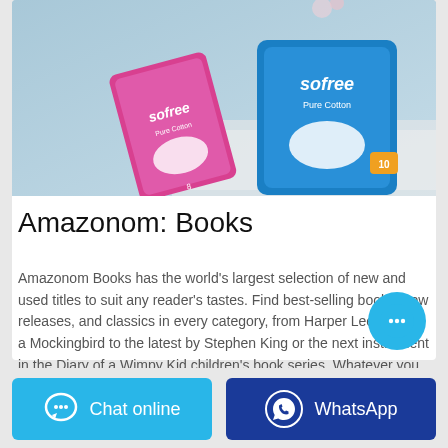[Figure (photo): Product photo showing two Sofree Pure Cotton sanitary pad packages (one pink/blue and one blue) on a white surface with a light blue background]
Amazonom: Books
Amazonom Books has the world's largest selection of new and used titles to suit any reader's tastes. Find best-selling books, new releases, and classics in every category, from Harper Lee's To Kill a Mockingbird to the latest by Stephen King or the next installment in the Diary of a Wimpy Kid children's book series. Whatever you are looking for: popular fiction, cookbooks, myst…
...
[Figure (illustration): Floating chat bubble button (blue circle with three dots)]
[Figure (illustration): Chat online button (light blue button with chat icon and text 'Chat online')]
[Figure (illustration): WhatsApp button (dark blue button with WhatsApp logo and text 'WhatsApp')]